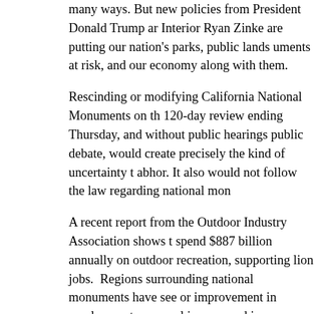many ways. But new policies from President Donald Trump and Interior Ryan Zinke are putting our nation's parks, public lands, uments at risk, and our economy along with them.
Rescinding or modifying California National Monuments on the 120-day review ending Thursday, and without public hearings or public debate, would create precisely the kind of uncertainty that abhor. It also would not follow the law regarding national monuments.
A recent report from the Outdoor Industry Association shows that spend $887 billion annually on outdoor recreation, supporting lion jobs. Regions surrounding national monuments have seen or improvement in employment, personal income and increases in income. Rural counties in the West with more than 30 percent lands saw jobs increase by 345 percent over areas without protected lands.
Beyond these direct economic impacts, the value of our national monuments manifests itself in more indirect ways, as entrepreneurs and workers know. We have seen firsthand that the protection of national parks and the designation of national monuments, in particular – is important to and growth of entrepreneurial, innovative companies across America.